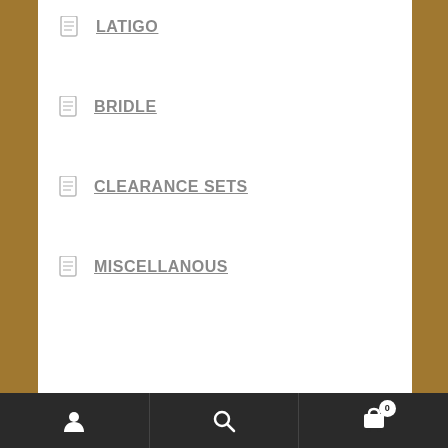LATIGO
BRIDLE
CLEARANCE SETS
MISCELLANOUS
1392 Hwy 50, Delta Colorado
(970) 874- 7702
Store Hours:
Monday thru Saturday 10am-5pm
User icon | Search icon | Cart (0)